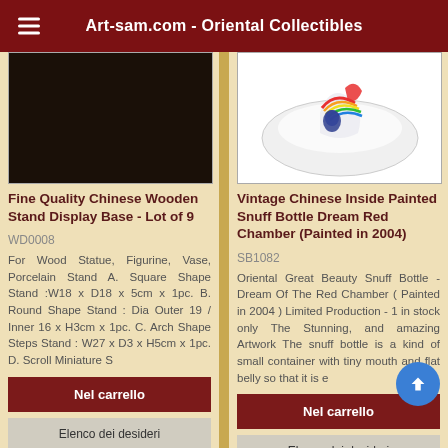Art-sam.com - Oriental Collectibles
[Figure (photo): Product image of Fine Quality Chinese Wooden Stand Display Base - dark background]
Fine Quality Chinese Wooden Stand Display Base - Lot of 9
WD0008
For Wood Statue, Figurine, Vase, Porcelain Stand A. Square Shape Stand :W18 x D18 x 5cm x 1pc. B. Round Shape Stand : Dia Outer 19 / Inner 16 x H3cm x 1pc. C. Arch Shape Steps Stand : W27 x D3 x H5cm x 1pc. D. Scroll Miniature S
Nel carrello
Elenco dei desideri
$49.99
[Figure (photo): Product image of Vintage Chinese Inside Painted Snuff Bottle Dream Red Chamber - colorful painted bottle on white background]
Vintage Chinese Inside Painted Snuff Bottle Dream Red Chamber (Painted in 2004)
SB1082
Oriental Great Beauty Snuff Bottle - Dream Of The Red Chamber ( Painted in 2004 ) Limited Production - 1 in stock only The Stunning, and amazing Artwork The snuff bottle is a kind of small container with tiny mouth and flat belly so that it is e
Nel carrello
Elenco dei desideri
$199.00